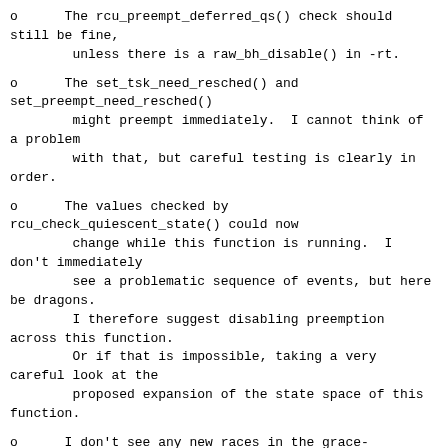o      The rcu_preempt_deferred_qs() check should still be fine,
        unless there is a raw_bh_disable() in -rt.
o      The set_tsk_need_resched() and set_preempt_need_resched()
        might preempt immediately.  I cannot think of a problem
        with that, but careful testing is clearly in order.
o      The values checked by rcu_check_quiescent_state() could now
        change while this function is running.  I don't immediately
        see a problematic sequence of events, but here be dragons.
        I therefore suggest disabling preemption across this function.
        Or if that is impossible, taking a very careful look at the
        proposed expansion of the state space of this function.
o      I don't see any new races in the grace-period/callback check.
        New callbacks can appear in interrupt handlers, after all.
o      The rcu_check_gp_start_stall() function looks similarly.